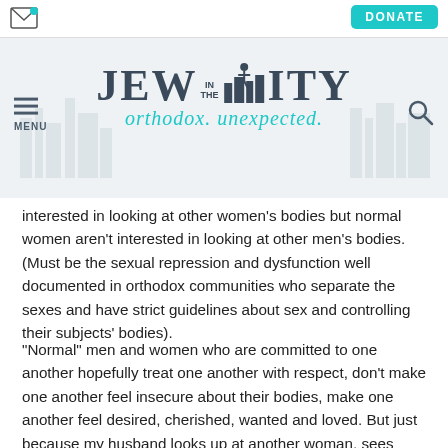[Figure (screenshot): Jew in the City website header with envelope icon, DONATE button, hamburger menu, logo, and tagline 'orthodox. unexpected.']
interested in looking at other women's bodies but normal women aren't interested in looking at other men's bodies. (Must be the sexual repression and dysfunction well documented in orthodox communities who separate the sexes and have strict guidelines about sex and controlling their subjects' bodies).
"Normal" men and women who are committed to one another hopefully treat one another with respect, don't make one another feel insecure about their bodies, make one another feel desired, cherished, wanted and loved. But just because my husband looks up at another woman, sees another woman's natural hair, shoulders, knees or stomach,